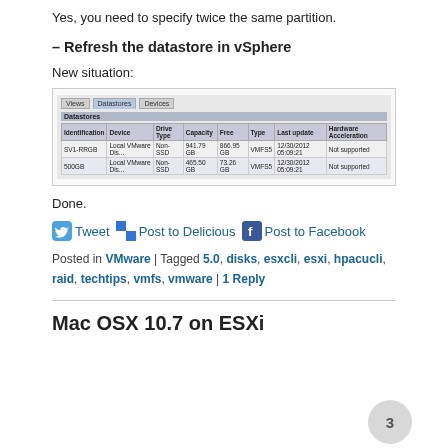Yes, you need to specify twice the same partition.
– Refresh the datastore in vSphere
New situation:
[Figure (screenshot): vSphere datastore browser screenshot showing two datastores (SV1-RRGB and 500GB) with columns: Identification, Device, Drive Type, Capacity, Free, Type, Last update, Hardware Acceleration. Both show Local VMware Disk, Non-SSD, Not supported.]
Done.
Tweet  Post to Delicious  Post to Facebook
Posted in VMware | Tagged 5.0, disks, esxcli, esxi, hpacucli, raid, techtips, vmfs, vmware | 1 Reply
Mac OSX 10.7 on ESXi